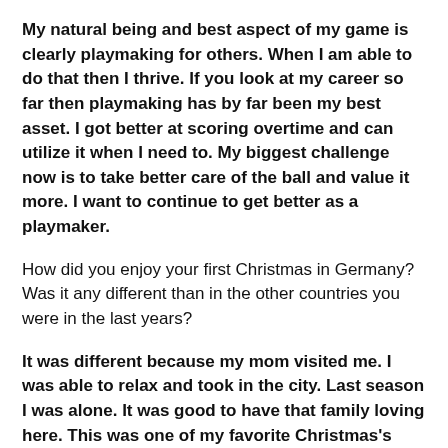My natural being and best aspect of my game is clearly playmaking for others. When I am able to do that then I thrive. If you look at my career so far then playmaking has by far been my best asset. I got better at scoring overtime and can utilize it when I need to. My biggest challenge now is to take better care of the ball and value it more. I want to continue to get better as a playmaker.
How did you enjoy your first Christmas in Germany? Was it any different than in the other countries you were in the last years?
It was different because my mom visited me. I was able to relax and took in the city. Last season I was alone. It was good to have that family loving here. This was one of my favorite Christmas's ever.